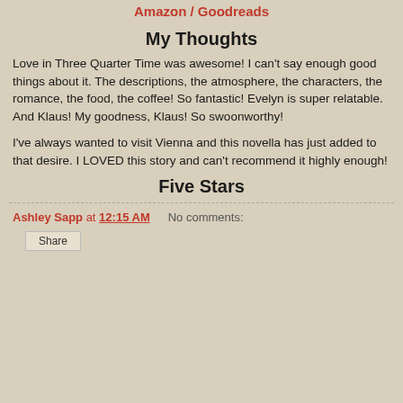Amazon / Goodreads
My Thoughts
Love in Three Quarter Time was awesome! I can't say enough good things about it. The descriptions, the atmosphere, the characters, the romance, the food, the coffee! So fantastic! Evelyn is super relatable. And Klaus! My goodness, Klaus! So swoonworthy!
I've always wanted to visit Vienna and this novella has just added to that desire. I LOVED this story and can't recommend it highly enough!
Five Stars
Ashley Sapp at 12:15 AM   No comments:
Share